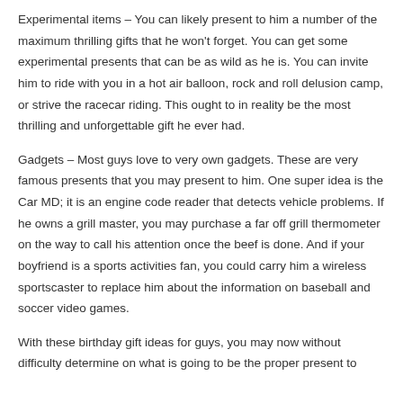Experimental items – You can likely present to him a number of the maximum thrilling gifts that he won't forget. You can get some experimental presents that can be as wild as he is. You can invite him to ride with you in a hot air balloon, rock and roll delusion camp, or strive the racecar riding. This ought to in reality be the most thrilling and unforgettable gift he ever had.
Gadgets – Most guys love to very own gadgets. These are very famous presents that you may present to him. One super idea is the Car MD; it is an engine code reader that detects vehicle problems. If he owns a grill master, you may purchase a far off grill thermometer on the way to call his attention once the beef is done. And if your boyfriend is a sports activities fan, you could carry him a wireless sportscaster to replace him about the information on baseball and soccer video games.
With these birthday gift ideas for guys, you may now without difficulty determine on what is going to be the proper present to